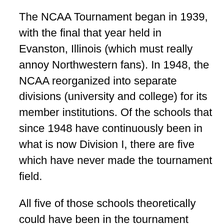The NCAA Tournament began in 1939, with the final that year held in Evanston, Illinois (which must really annoy Northwestern fans). In 1948, the NCAA reorganized into separate divisions (university and college) for its member institutions. Of the schools that since 1948 have continuously been in what is now Division I, there are five which have never made the tournament field.
All five of those schools theoretically could have been in the tournament beginning in 1939, so for them the wait is actually longer than their history as official members of Division I. (This is just one of many crushing items/statistics about these institutions' basketball histories.)
The five schools are known as “The Forgotten Five”. The